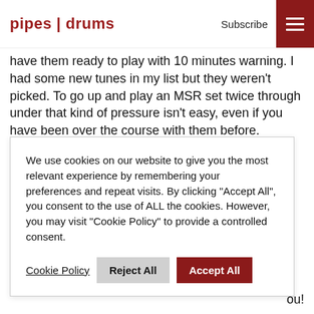pipes | drums  Subscribe
have them ready to play with 10 minutes warning. I had some new tunes in my list but they weren't picked. To go up and play an MSR set twice through under that kind of pressure isn't easy, even if you have been over the course with them before. Anyone who has played in that event will testify to it.......IT'S NOT EASY!!!
We use cookies on our website to give you the most relevant experience by remembering your preferences and repeat visits. By clicking "Accept All", you consent to the use of ALL the cookies. However, you may visit "Cookie Policy" to provide a controlled consent.
ou!